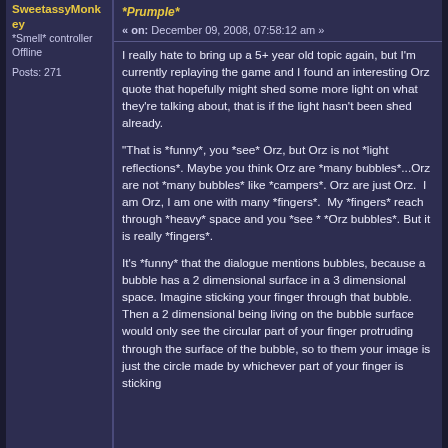SweetassyMonkey — *Prumple* « on: December 09, 2008, 07:58:12 am »
*Smell* controller
Offline
Posts: 271
I really hate to bring up a 5+ year old topic again, but I'm currently replaying the game and I found an interesting Orz quote that hopefully might shed some more light on what they're talking about, that is if the light hasn't been shed already.
"That is *funny*, you *see* Orz, but Orz is not *light reflections*. Maybe you think Orz are *many bubbles*...Orz are not *many bubbles* like *campers*. Orz are just Orz.  I am Orz, I am one with many *fingers*.  My *fingers* reach through *heavy* space and you *see * *Orz bubbles*. But it is really *fingers*.
It's *funny* that the dialogue mentions bubbles, because a bubble has a 2 dimensional surface in a 3 dimensional space. Imagine sticking your finger through that bubble. Then a 2 dimensional being living on the bubble surface would only see the circular part of your finger protruding through the surface of the bubble, so to them your image is just the circle made by whichever part of your finger is sticking